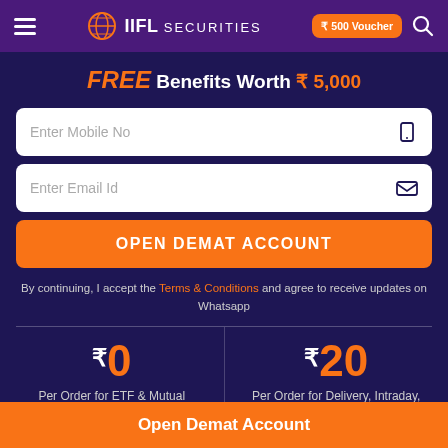IIFL Securities — Navigation bar with hamburger menu, logo, ₹500 Voucher button, and search icon
FREE Benefits Worth ₹ 5,000
Enter Mobile No
Enter Email Id
OPEN DEMAT ACCOUNT
By continuing, I accept the Terms & Conditions and agree to receive updates on Whatsapp
₹0 Per Order for ETF & Mutual Funds Brokerage
₹20 Per Order for Delivery, Intraday, F&O, Currency & Commodity
Open Demat Account